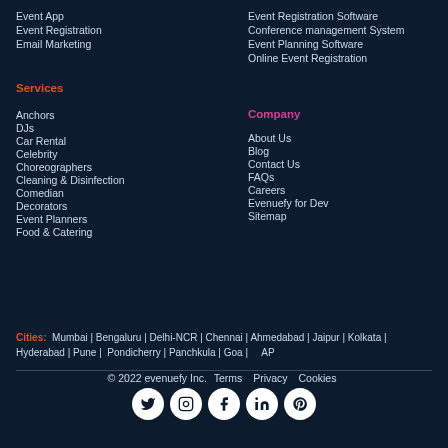Event App
Event Registration
Email Marketing
Event Registration Software
Conference management System
Event Planning Software
Online Event Registration
Services
Anchors
DJs
Car Rental
Celebrity
Choreographers
Cleaning & Disinfection
Comedian
Decorators
Event Planners
Food & Catering
Company
About Us
Blog
Contact Us
FAQs
Careers
Evenuefy for Dev
Sitemap
Cities: Mumbai | Bengaluru | Delhi-NCR | Chennai | Ahmedabad | Jaipur | Kolkata | Hyderabad | Pune |  Pondicherry | Panchkula | Goa |     AP
© 2022 evenuefy Inc.  Terms  Privacy  Cookies